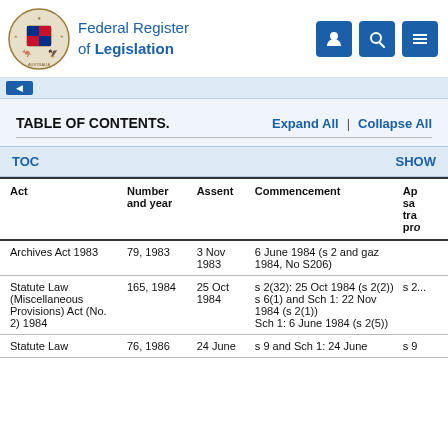Federal Register of Legislation
TABLE OF CONTENTS.  Expand All  |  Collapse All
| Act | Number and year | Assent | Commencement | Ap... |
| --- | --- | --- | --- | --- |
| Archives Act 1983 | 79, 1983 | 3 Nov 1983 | 6 June 1984 (s 2 and gaz 1984, No S206) |  |
| Statute Law (Miscellaneous Provisions) Act (No. 2) 1984 | 165, 1984 | 25 Oct 1984 | s 2(32): 25 Oct 1984 (s 2(2))
s 6(1) and Sch 1: 22 Nov 1984 (s 2(1))
Sch 1: 6 June 1984 (s 2(5)) | s 2... |
| Statute Law | 76, 1986 | 24 June | s 9 and Sch 1: 24 June | s 9 |